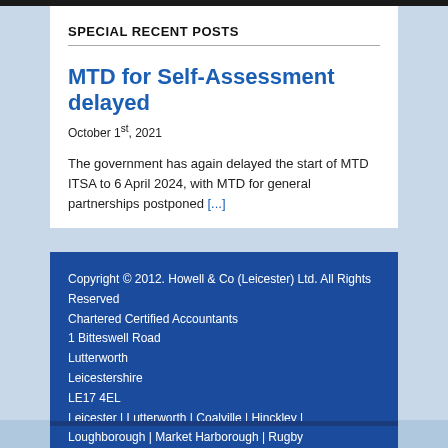SPECIAL RECENT POSTS
MTD for Self-Assessment delayed
October 1st, 2021
The government has again delayed the start of MTD ITSA to 6 April 2024, with MTD for general partnerships postponed [...]
Copyright © 2012. Howell & Co (Leicester) Ltd. All Rights Reserved
Chartered Certified Accountants
1 Bitteswell Road
Lutterworth
Leicestershire
LE17 4EL
Leicester | Lutterworth | Coalville | Hinckley | Loughborough | Market Harborough | Rugby